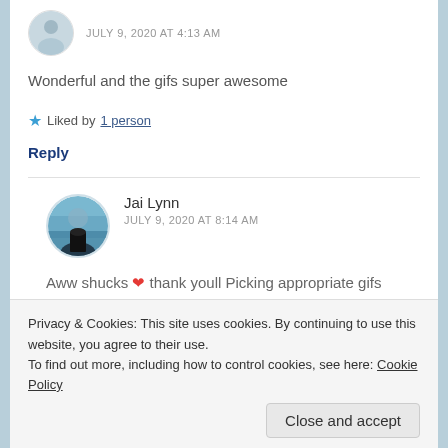JULY 9, 2020 AT 4:13 AM
Wonderful and the gifs super awesome
Liked by 1 person
Reply
Jai Lynn
JULY 9, 2020 AT 8:14 AM
Aww shucks ❤ thank youll Picking appropriate gifs
Privacy & Cookies: This site uses cookies. By continuing to use this website, you agree to their use. To find out more, including how to control cookies, see here: Cookie Policy
Close and accept
Reply